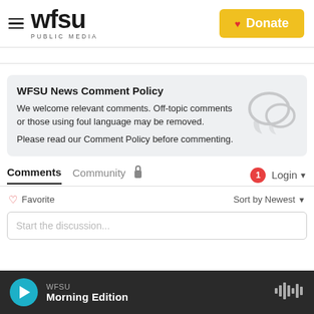[Figure (logo): WFSU Public Media logo with hamburger menu icon]
[Figure (other): Donate button with heart icon on yellow background]
WFSU News Comment Policy
We welcome relevant comments. Off-topic comments or those using foul language may be removed.
Please read our Comment Policy before commenting.
Comments  Community  🔒  1  Login
♡ Favorite    Sort by Newest ▾
Start the discussion...
WFSU Morning Edition